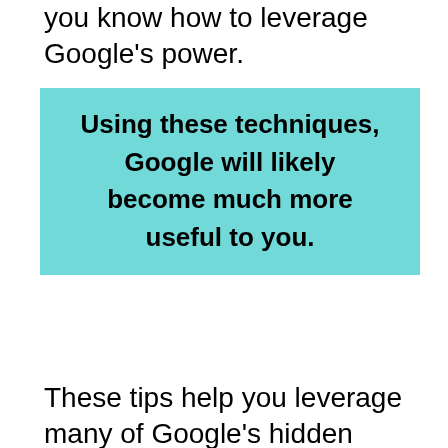you know how to leverage Google's power.
Using these techniques, Google will likely become much more useful to you.
These tips help you leverage many of Google's hidden capabilities.